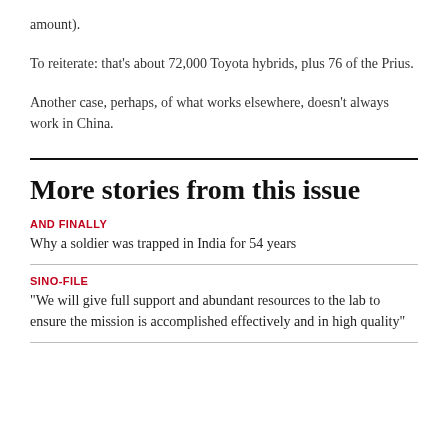amount).
To reiterate: that's about 72,000 Toyota hybrids, plus 76 of the Prius.
Another case, perhaps, of what works elsewhere, doesn't always work in China.
More stories from this issue
AND FINALLY
Why a soldier was trapped in India for 54 years
SINO-FILE
“We will give full support and abundant resources to the lab to ensure the mission is accomplished effectively and in high quality”